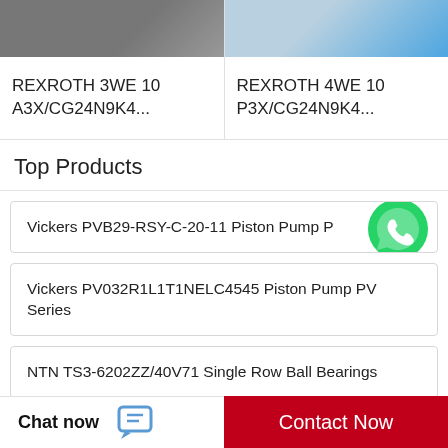[Figure (photo): Product image for REXROTH 3WE 10 A3X/CG24N9K4 - dark colored product on light background]
[Figure (photo): Product image for REXROTH 4WE 10 P3X/CG24N9K4 - product with blue element on light background]
REXROTH 3WE 10 A3X/CG24N9K4...
REXROTH 4WE 10 P3X/CG24N9K4...
Top Products
Vickers PVB29-RSY-C-20-11 Piston Pump P...
[Figure (logo): WhatsApp green circle logo icon with phone handset. WhatsApp Online label below.]
Vickers PV032R1L1T1NELC4545 Piston Pump PV Series
NTN TS3-6202ZZ/40V71 Single Row Ball Bearings
FAG 22340-MB-C4 Spherical Roller Bearings
Chat now | Contact Now